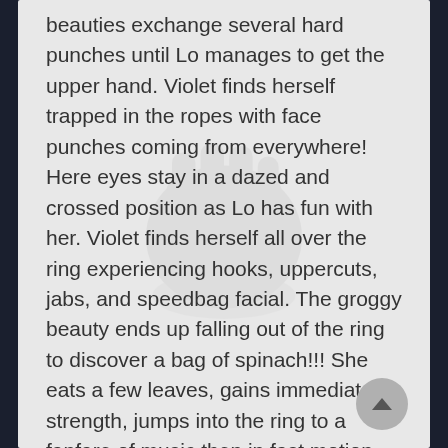beauties exchange several hard punches until Lo manages to get the upper hand. Violet finds herself trapped in the ropes with face punches coming from everywhere! Here eyes stay in a dazed and crossed position as Lo has fun with her. Violet finds herself all over the ring experiencing hooks, uppercuts, jabs, and speedbag facial. The groggy beauty ends up falling out of the ring to discover a bag of spinach!!! She eats a few leaves, gains immediate strength, jumps into the ring to a fanfare of music then in fast motion punches the surprised Lo all over the place!!! In the end Lo ends up on the mat with the giddy Violet doing her victory pose! You'll LOVE this campy video!